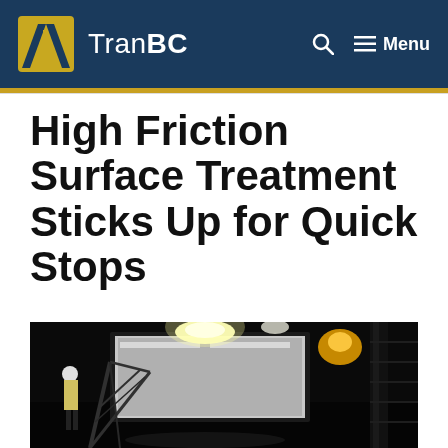TranBC
High Friction Surface Treatment Sticks Up for Quick Stops
[Figure (photo): Night-time construction scene showing workers and equipment with bright lights, including a large white truck or machine and a tower structure on the right, workers in high-visibility gear]